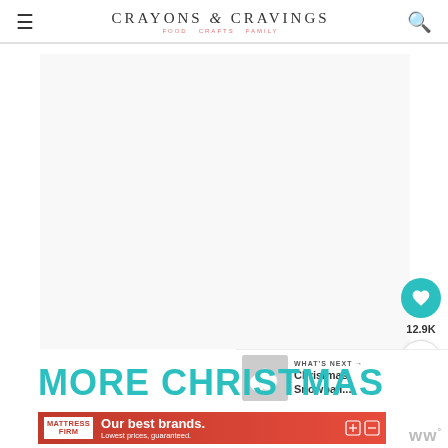CRAYONS & CRAVINGS — FOOD CRAFTS FAMILY
[Figure (photo): Large white/blank image area (main article photo placeholder)]
12.9K
WHAT'S NEXT → Christmas Snowball...
MORE CHRISTMAS
[Figure (infographic): Mattress Firm advertisement banner: 'Our best brands. Lowest prices, guaranteed.']
ww°